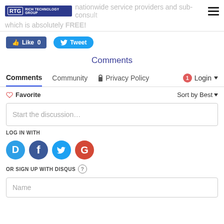Rich Technology Group — nationwide service providers and sub-consultants — which is absolutely FREE!
Like 0   Tweet
Comments
Comments   Community   Privacy Policy   1   Login
Favorite   Sort by Best
Start the discussion…
LOG IN WITH
[Figure (other): Social login icons: Disqus (blue circle with D), Facebook (dark blue circle with f), Twitter (cyan circle with bird), Google (red circle with G)]
OR SIGN UP WITH DISQUS ?
Name